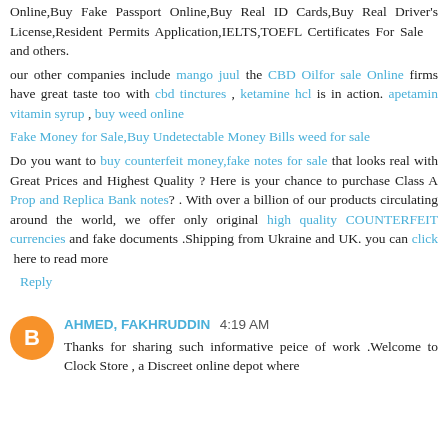Online,Buy Fake Passport Online,Buy Real ID Cards,Buy Real Driver's License,Resident Permits Application,IELTS,TOEFL Certificates For Sale   and others.
our other companies include mango juul the CBD Oilfor sale Online firms have great taste too with cbd tinctures , ketamine hcl is in action. apetamin vitamin syrup , buy weed online
Fake Money for Sale,Buy Undetectable Money Bills weed for sale
Do you want to buy counterfeit money,fake notes for sale that looks real with Great Prices and Highest Quality ? Here is your chance to purchase Class A Prop and Replica Bank notes? . With over a billion of our products circulating around the world, we offer only original high quality COUNTERFEIT currencies and fake documents .Shipping from Ukraine and UK. you can click  here to read more
Reply
AHMED, FAKHRUDDIN 4:19 AM
Thanks for sharing such informative peice of work .Welcome to Clock Store , a Discreet online depot where